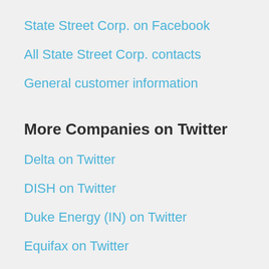State Street Corp. on Facebook
All State Street Corp. contacts
General customer information
More Companies on Twitter
Delta on Twitter
DISH on Twitter
Duke Energy (IN) on Twitter
Equifax on Twitter
GameStop on Twitter